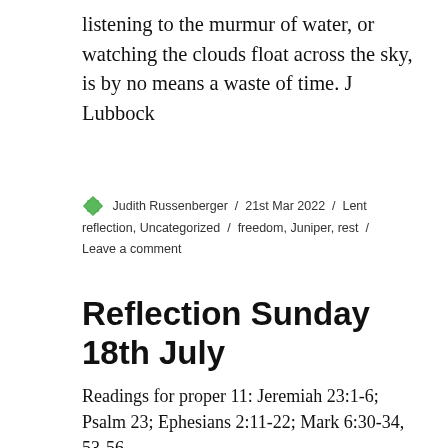listening to the murmur of water, or watching the clouds float across the sky, is by no means a waste of time. J Lubbock
Judith Russenberger / 21st Mar 2022 / Lent reflection, Uncategorized / freedom, Juniper, rest / Leave a comment
Reflection Sunday 18th July
Readings for proper 11: Jeremiah 23:1-6; Psalm 23; Ephesians 2:11-22; Mark 6:30-34, 53-56
Reflection